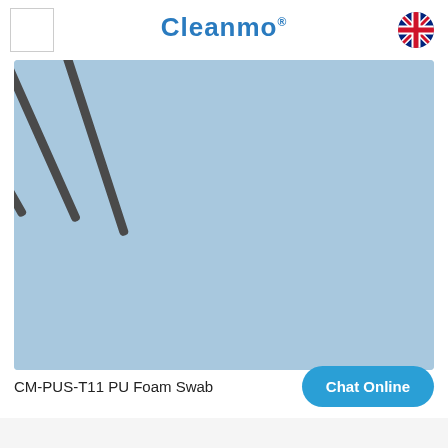[Figure (logo): Small white square logo placeholder in top left corner]
Cleanmo®
[Figure (photo): Five PU foam swabs with dark grey/black handles and white foam tips, fanned out against a light blue background]
CM-PUS-T11 PU Foam Swab
Chat Online